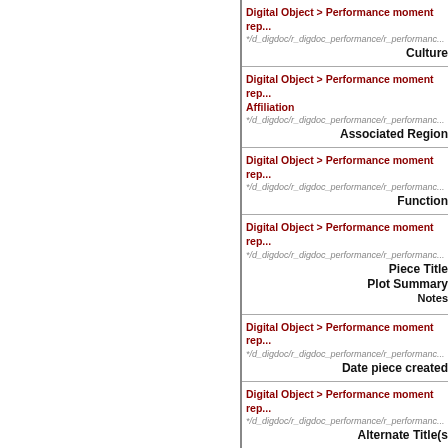Digital Object > Performance moment rep...
*/d_digdoc/r_digdoc_performance/r_performanc...
Culture
Digital Object > Performance moment rep...
Affiliation
*/d_digdoc/r_digdoc_performance/r_performanc...
Associated Region
Digital Object > Performance moment rep...
*/d_digdoc/r_digdoc_performance/r_performanc...
Function
Digital Object > Performance moment rep...
*/d_digdoc/r_digdoc_performance/r_performanc...
Piece Title
Plot Summary
Notes
Digital Object > Performance moment rep...
*/d_digdoc/r_digdoc_performance/r_performanc...
Date piece created
Digital Object > Performance moment rep...
*/d_digdoc/r_digdoc_performance/r_performanc...
Alternate Title(s